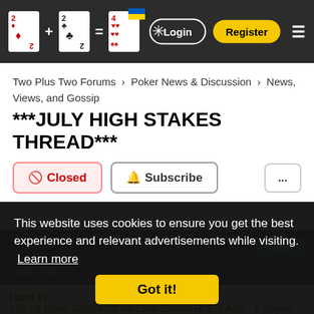Two Plus Two Forums + cards logo | Login | Register
Two Plus Two Forums › Poker News & Discussion › News, Views, and Gossip
***JULY HIGH STAKES THREAD***
🚫 Closed | 🔔 Subscribe | ...
«   <   Page 55 of 126 •   >   »
dude1258   #1351
Hand #1
Full Tilt Poker $200/$400 No Limit Omaha Hi $70 Ante - 9 players
The Official 2+2 Hand Converter Powered By DeucesCracked.com
This website uses cookies to ensure you get the best experience and relevant advertisements while visiting. Learn more
Got it!